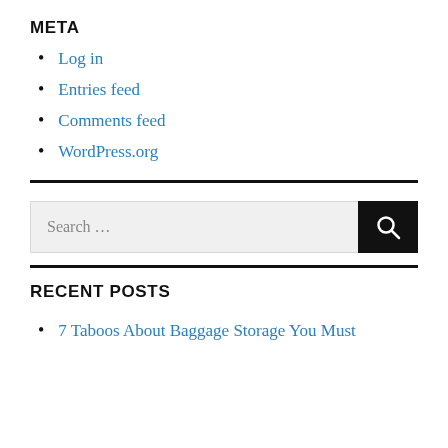META
Log in
Entries feed
Comments feed
WordPress.org
RECENT POSTS
7 Taboos About Baggage Storage You Must